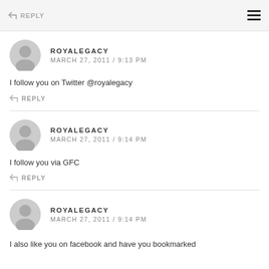REPLY
ROYALEGACY
MARCH 27, 2011 / 9:13 PM
I follow you on Twitter @royalegacy
REPLY
ROYALEGACY
MARCH 27, 2011 / 9:14 PM
I follow you via GFC
REPLY
ROYALEGACY
MARCH 27, 2011 / 9:14 PM
I also like you on facebook and have you bookmarked